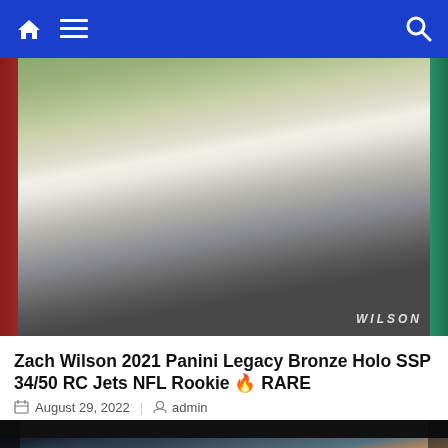Navigation bar with home, menu, and search icons
[Figure (photo): Football trading card image showing a player (Zach Wilson) in white jersey against a dark background, with 'WILSON' text visible at bottom right. Card has red left border and teal right border accents.]
Zach Wilson 2021 Panini Legacy Bronze Holo SSP 34/50 RC Jets NFL Rookie 🔥 RARE
August 29, 2022   admin
[Figure (photo): Football action photo showing a player in white jersey with number 20 (Dallas Cowboys style uniform) being tackled or blocked by a player in dark navy jersey. Player wears gloves and arm sleeve.]